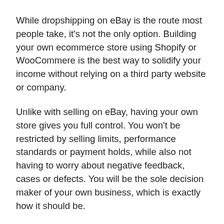While dropshipping on eBay is the route most people take, it's not the only option. Building your own ecommerce store using Shopify or WooCommere is the best way to solidify your income without relying on a third party website or company.
Unlike with selling on eBay, having your own store gives you full control. You won't be restricted by selling limits, performance standards or payment holds, while also not having to worry about negative feedback, cases or defects. You will be the sole decision maker of your own business, which is exactly how it should be.
Another advantage to dropshipping through a Shopify or WooCommerce store is the huge amount of funds you will save for not having to pay seller fees. As it stands, eBay takes 10% while PayPal takes around 3-5% for a combined total of around 15%. Therefore, if you sell £10,000 worth of product in any given month, your selling